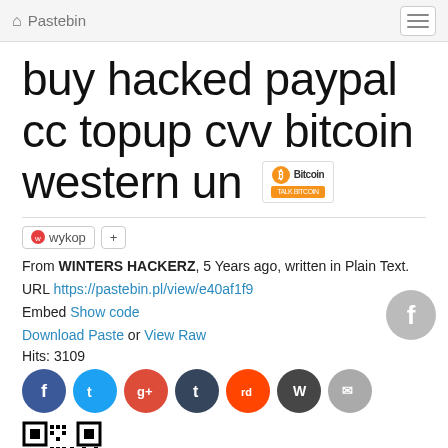Pastebin
buy hacked paypal cc topup cvv bitcoin western un
From WINTERS HACKERZ, 5 Years ago, written in Plain Text.
URL https://pastebin.pl/view/e40af1f9
Embed Show code
Download Paste or View Raw
Hits: 3109